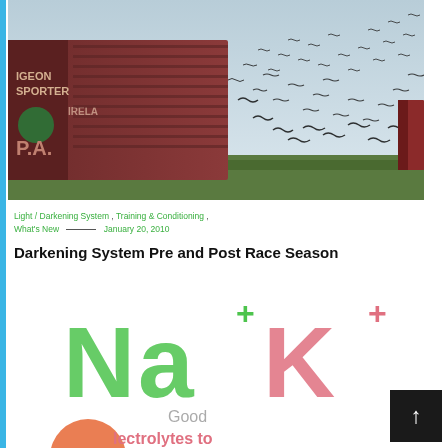[Figure (photo): Photograph of a large red pigeon transporter truck (labeled 'PIGEON TRANSPORTER IRELAND' and 'P.A.') releasing a large flock of pigeons into the air over a green field.]
Light / Darkening System ,  Training & Conditioning ,  What's New  ———  January 20, 2010
Darkening System Pre and Post Race Season
[Figure (logo): NaK+ Good Electrolytes branding logo with large green 'Na+' and pink 'K+' chemical symbols, along with 'Good' text and partial 'Electrolytes to' text at the bottom with an orange circular element.]